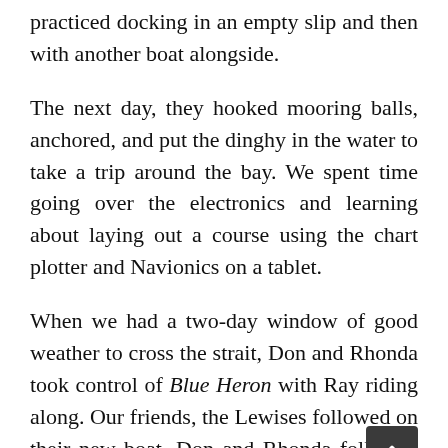practiced docking in an empty slip and then with another boat alongside.
The next day, they hooked mooring balls, anchored, and put the dinghy in the water to take a trip around the bay. We spent time going over the electronics and learning about laying out a course using the chart plotter and Navionics on a tablet.
When we had a two-day window of good weather to cross the strait, Don and Rhonda took control of Blue Heron with Ray riding along. Our friends, the Lewises followed on their new boat. Don and Rhonda followed the waypoints with confidence and safely docked Blue Heron at Deer Harbor marina.
The next day, Ray boarded the Lewises' boat